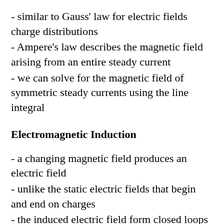- similar to Gauss' law for electric fields charge distributions
- Ampere's law describes the magnetic field arising from an entire steady current
- we can solve for the magnetic field of symmetric steady currents using the line integral
Electromagnetic Induction
- a changing magnetic field produces an electric field
- unlike the static electric fields that begin and end on charges
- the induced electric field form closed loops